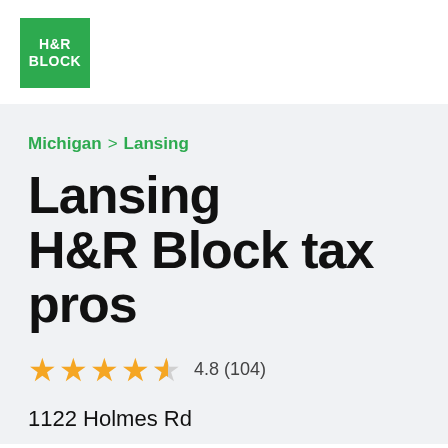[Figure (logo): H&R Block green square logo with white text]
Michigan > Lansing
Lansing H&R Block tax pros
4.8 (104)
1122 Holmes Rd